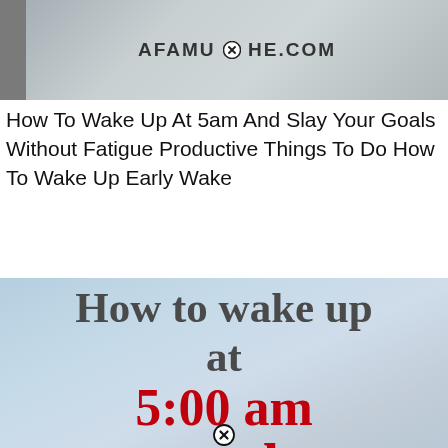[Figure (photo): Top portion of a photo with a watermark text AFAMUSHE.COM and a close/X icon, gray tones suggesting a nature or person photo, with a dark sidebar on the left.]
How To Wake Up At 5am And Slay Your Goals Without Fatigue Productive Things To Do How To Wake Up Early Wake
[Figure (infographic): Infographic image with a light blue-gray gradient background. Text reads: 'How to wake up at' in dark gray serif bold font, '5:00 am' in large bold red serif font, and 'everyday' in large bold red serif font. A close/X icon appears at the bottom center.]